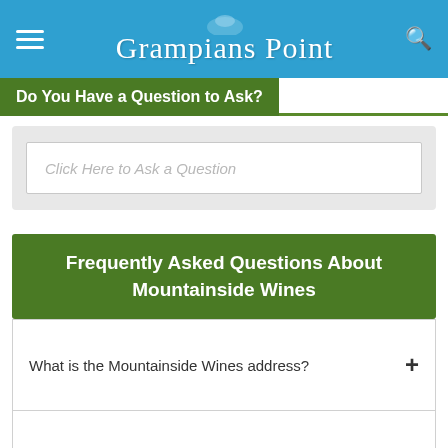Grampians Point
Do You Have a Question to Ask?
Click Here to Ask a Question
Frequently Asked Questions About Mountainside Wines
What is the Mountainside Wines address?
What are the Mountainside Wines opening hours?